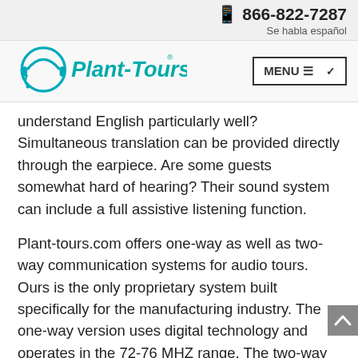📱 866-822-7287
Se habla español
[Figure (logo): Plant-Tours.com logo with headset icon in teal/cyan color]
understand English particularly well? Simultaneous translation can be provided directly through the earpiece. Are some guests somewhat hard of hearing? Their sound system can include a full assistive listening function.
Plant-tours.com offers one-way as well as two-way communication systems for audio tours. Ours is the only proprietary system built specifically for the manufacturing industry. The one-way version uses digital technology and operates in the 72-76 MHZ range. The two-way version is analog, operating in the 462 MHZ range, with a pll, uhf channel…